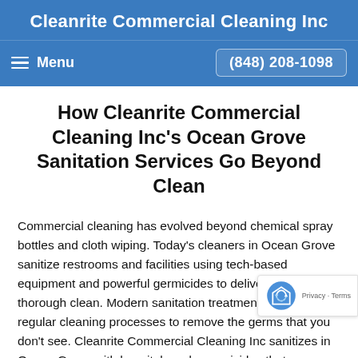Cleanrite Commercial Cleaning Inc
Menu   (848) 208-1098
How Cleanrite Commercial Cleaning Inc's Ocean Grove Sanitation Services Go Beyond Clean
Commercial cleaning has evolved beyond chemical spray bottles and cloth wiping. Today's cleaners in Ocean Grove sanitize restrooms and facilities using tech-based equipment and powerful germicides to deliver a more thorough clean. Modern sanitation treatments enhance regular cleaning processes to remove the germs that you don't see. Cleanrite Commercial Cleaning Inc sanitizes in Ocean Grove with hospital-grade germicides that are applied with electrostatic sprayers. They have a long-lasting effect against dangerous viruses and bacteria,